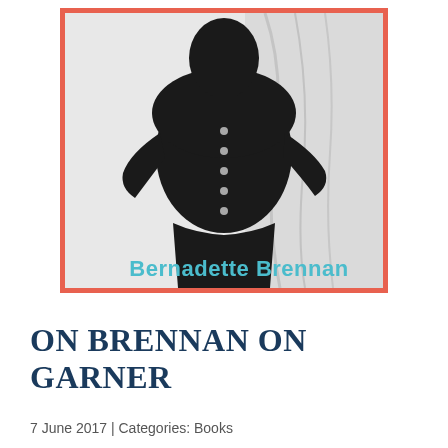[Figure (photo): Black and white photograph of a woman in a dark button-up dress/jacket standing with hands on hips, framed by a coral/red border. The name 'Bernadette Brennan' appears in teal text overlaid at the bottom of the image.]
ON BRENNAN ON GARNER
7 June 2017 | Categories: Books